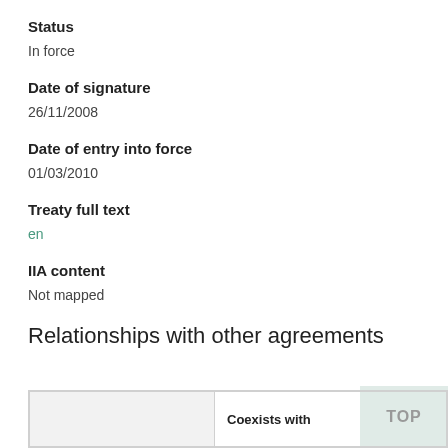Status
In force
Date of signature
26/11/2008
Date of entry into force
01/03/2010
Treaty full text
en
IIA content
Not mapped
Relationships with other agreements
|  | Coexists with |
| --- | --- |
|  |  |